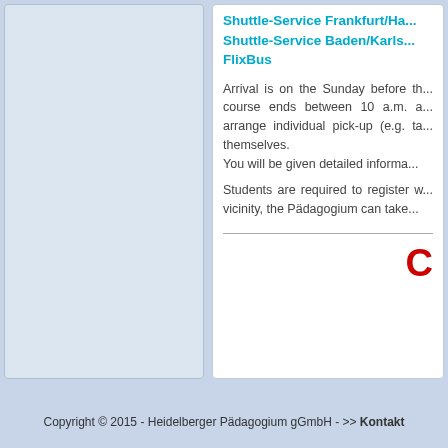Shuttle-Service Frankfurt/Ha...
Shuttle-Service Baden/Karls...
FlixBus
Arrival is on the Sunday before th... course ends between 10 a.m. a... arrange individual pick-up (e.g. ta... themselves. You will be given detailed informa...
Students are required to register w... vicinity, the Pädagogium can take...
C
Copyright © 2015 - Heidelberger Pädagogium gGmbH - >> Kontakt